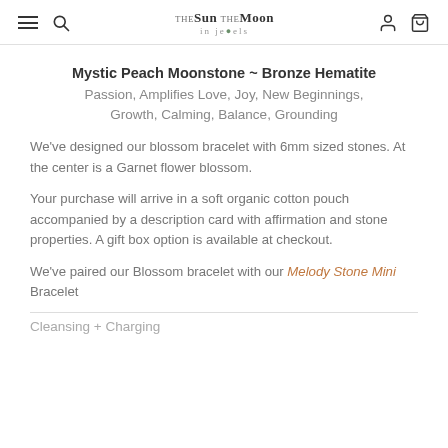The Sun The Moon in Jewels — navigation header with hamburger, search, logo, user and cart icons
Mystic Peach Moonstone ~ Bronze Hematite
Passion, Amplifies Love, Joy, New Beginnings, Growth, Calming, Balance, Grounding
We've designed our blossom bracelet with 6mm sized stones. At the center is a Garnet flower blossom.
Your purchase will arrive in a soft organic cotton pouch accompanied by a description card with affirmation and stone properties. A gift box option is available at checkout.
We've paired our Blossom bracelet with our Melody Stone Mini Bracelet
Cleansing + Charging